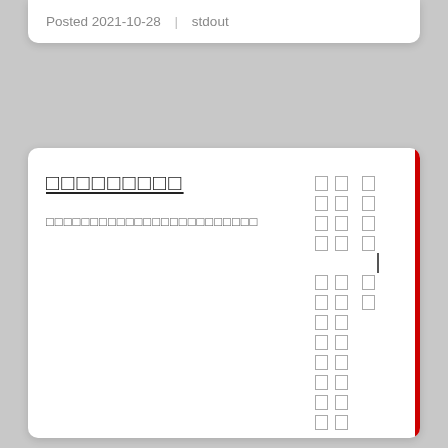Posted 2021-10-28  |  stdout
□□□□□□□□□
□□□□□□□□□□□□□□□□□□□□□□□□
[Figure (other): A vertical list of character box rows on the right side of a card, with a red vertical bar on the far right edge. Each row contains two square outlined boxes followed by a third square outlined box. There is a short vertical dash/line between rows 4 and 5 from the top, creating a divider.]